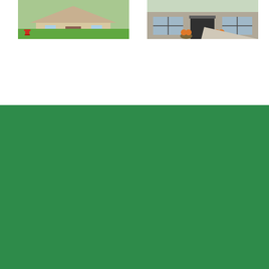[Figure (photo): Photo of a suburban house exterior with green lawn and a red fire hydrant visible]
[Figure (photo): Photo of a house entrance with a stone facade, potted plants with orange flowers, and a dark front door]
ABOUT US
California Energy Contractors new replacement windows and doors, heat